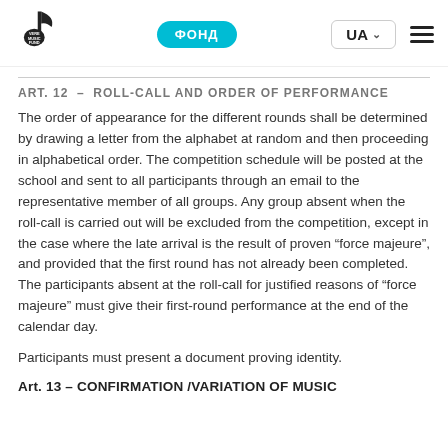VERE MUSIC FUND | ФОНД | UA
Art. 12 – ROLL-CALL AND ORDER OF PERFORMANCE
The order of appearance for the different rounds shall be determined by drawing a letter from the alphabet at random and then proceeding in alphabetical order. The competition schedule will be posted at the school and sent to all participants through an email to the representative member of all groups. Any group absent when the roll-call is carried out will be excluded from the competition, except in the case where the late arrival is the result of proven "force majeure", and provided that the first round has not already been completed. The participants absent at the roll-call for justified reasons of "force majeure" must give their first-round performance at the end of the calendar day.
Participants must present a document proving identity.
Art. 13 – CONFIRMATION /VARIATION OF MUSIC